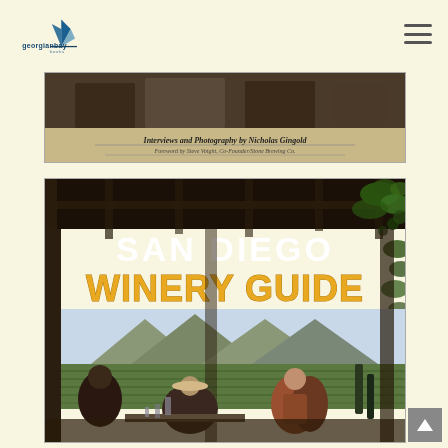georgianbay books — navigation header with logo and hamburger menu
[Figure (photo): Top book cover partial view showing dark photo of people, with text 'Interviews and Photography by Nicholas Gingold' and 'Foreword by Steve Voight, Co-Founder/Stone Brewing Co.' on a tan/beige background]
[Figure (photo): San Diego Winery Guide book cover featuring people sitting under a pergola at a winery with vineyard and mountains in background. Title reads SAN DIEGO in white bold text and WINERY GUIDE in large gold/yellow bold text]